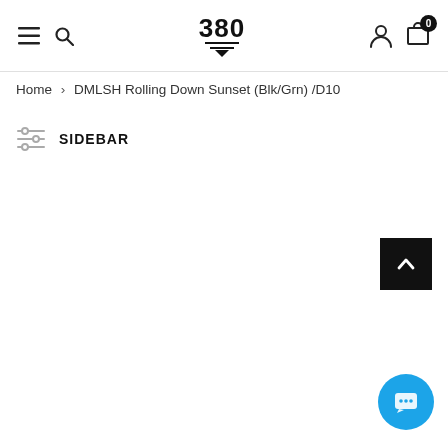380 [logo] — navigation header with hamburger, search, logo, user icon, cart (0)
Home > DMLSH Rolling Down Sunset (Blk/Grn) /D10
SIDEBAR
[Figure (other): Back-to-top button (dark square with upward chevron)]
[Figure (other): Live chat button (blue circle with speech bubble icon)]